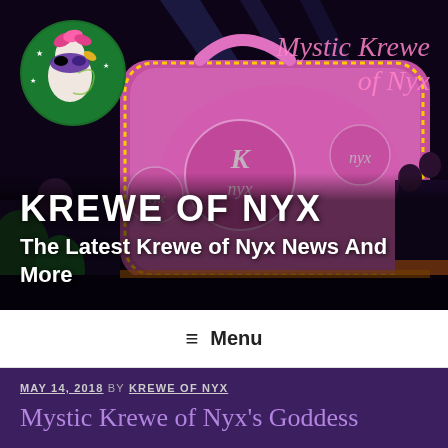[Figure (photo): Hero banner showing an illuminated Mardi Gras float shaped like a large pink/purple handbag with 'NYX' lettering, lit with yellow/orange lights, people in crowd around it at night. A circular green logo with a masked figure in purple overlaid in upper left. Pink italic 'Mystic Krewe of Nyx' text watermark top right.]
KREWE OF NYX
The Latest Krewe of Nyx News And More
Menu
MAY 14, 2018 BY KREWE OF NYX
Mystic Krewe of Nyx's Goddess